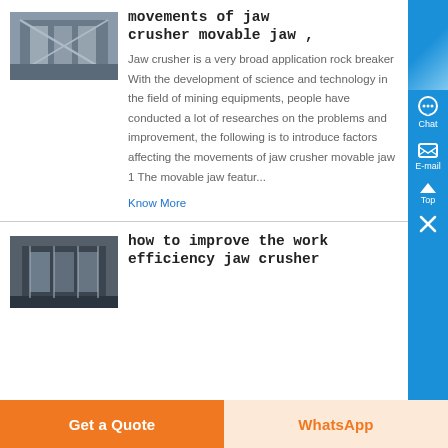movements of jaw crusher movable jaw ,
Jaw crusher is a very broad application rock breaker With the development of science and technology in the field of mining equipments, people have conducted a lot of researches on the problems and improvement, the following is to introduce factors affecting the movements of jaw crusher movable jaw 1 The movable jaw featur...
Know More
[Figure (photo): Industrial machinery photo - jaw crusher equipment]
how to improve the work efficiency jaw crusher
[Figure (photo): Industrial building/machinery photo]
Get a Quote
WhatsApp